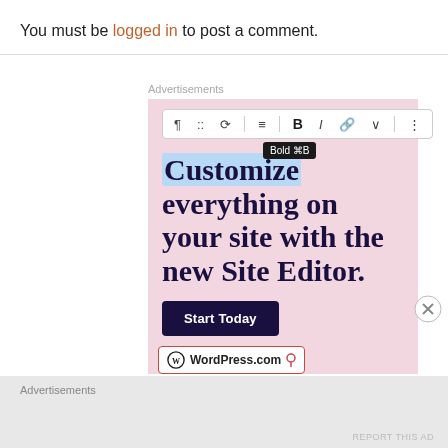You must be logged in to post a comment.
[Figure (screenshot): WordPress.com advertisement showing a block editor toolbar with Bold tooltip visible, headline 'Customize everything on your site with the new Site Editor.' on pink background, with a 'Start Today' button and WordPress.com logo bar at bottom.]
Advertisements
Advertisements